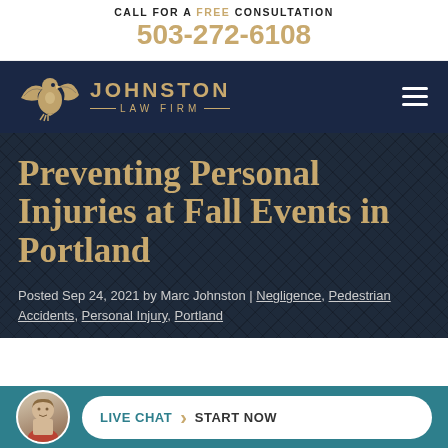CALL FOR A FREE CONSULTATION
503-272-6108
[Figure (logo): Johnston Law Firm logo with eagle and navigation bar on dark navy background]
Preventing Personal Injuries at Fall Events in Portland
Posted Sep 24, 2021 by Marc Johnston | Negligence, Pedestrian Accidents, Personal Injury, Portland
LIVE CHAT START NOW